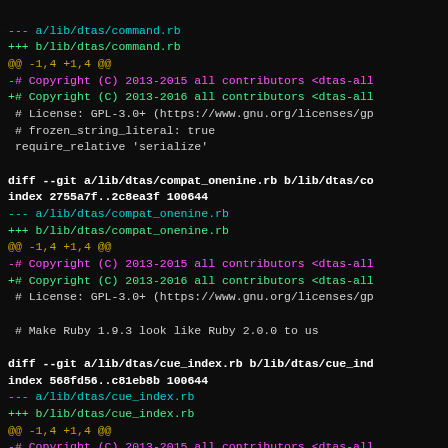diff --git a/lib/dtas/command.rb (implied, truncated at top)
--- a/lib/dtas/command.rb
+++ b/lib/dtas/command.rb
@@ -1,4 +1,4 @@
-# Copyright (C) 2013-2015 all contributors <dtas-all
+# Copyright (C) 2013-2016 all contributors <dtas-all
 # License: GPL-3.0+ (https://www.gnu.org/licenses/gp
 # frozen_string_literal: true
 require_relative 'serialize'

diff --git a/lib/dtas/compat_onenine.rb b/lib/dtas/co
index 2755a7f..2c8ea3f 100644
--- a/lib/dtas/compat_onenine.rb
+++ b/lib/dtas/compat_onenine.rb
@@ -1,4 +1,4 @@
-# Copyright (C) 2013-2015 all contributors <dtas-all
+# Copyright (C) 2013-2016 all contributors <dtas-all
 # License: GPL-3.0+ (https://www.gnu.org/licenses/gp

 # Make Ruby 1.9.3 look like Ruby 2.0.0 to us

diff --git a/lib/dtas/cue_index.rb b/lib/dtas/cue_ind
index 568fd56..c81eb8b 100644
--- a/lib/dtas/cue_index.rb
+++ b/lib/dtas/cue_index.rb
@@ -1,4 +1,4 @@
-# Copyright (C) 2013-2015 all contributors <dtas-all
+# Copyright (C) 2013-2016 all contributors <dtas-all
 # License: GPL-3.0+ (https://www.gnu.org/licenses/gp
 # frozen_string_literal: true
 require_relative '../dtas'